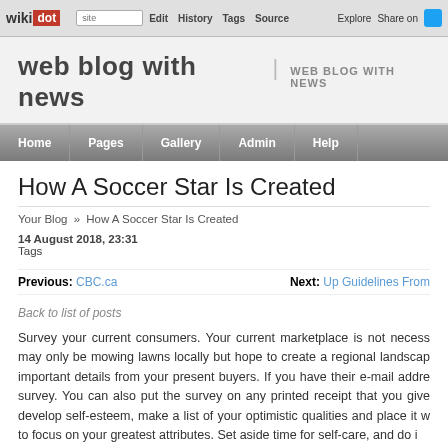wikidot | site Edit History Tags Source Explore Share on [Twitter]
web blog with news | WEB BLOG WITH NEWS
Home | Pages | Gallery | Admin | Help
How A Soccer Star Is Created
Your Blog » How A Soccer Star Is Created
14 August 2018, 23:31
Tags
Previous: CBC.ca   Next: Up Guidelines From
Back to list of posts
Survey your current consumers. Your current marketplace is not neces... may only be mowing lawns locally but hope to create a regional landscap... important details from your present buyers. If you have their e-mail addre... survey. You can also put the survey on any printed receipt that you give... develop self-esteem, make a list of your optimistic qualities and place it w... to focus on your greatest attributes. Set aside time for self-care, and do i...